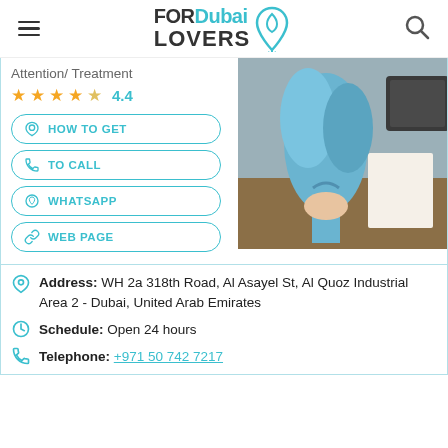[Figure (logo): FOR Dubai LOVERS logo with teal droplet/pin icon]
Attention/ Treatment
4.4 (star rating)
[Figure (photo): Hand holding a blue paper-wrapped flower bouquet on a wooden desk]
HOW TO GET
TO CALL
WHATSAPP
WEB PAGE
Address: WH 2a 318th Road, Al Asayel St, Al Quoz Industrial Area 2 - Dubai, United Arab Emirates
Schedule: Open 24 hours
Telephone: +971 50 742 7217